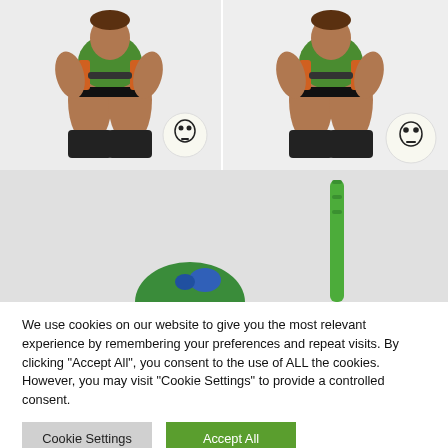[Figure (photo): Action figure of a muscular man in green top and black pants, crouching and holding a weapon, with a small white ball with skull design on the right, against white background. Left photo of a side-by-side pair.]
[Figure (photo): Same action figure of a muscular man in green top and black pants, crouching, with the skull ball to his right, white background. Right photo of the side-by-side pair.]
[Figure (photo): Close-up partial view of a green toy figure or creature, with a tall green rod/stick on the right side, against light gray background.]
We use cookies on our website to give you the most relevant experience by remembering your preferences and repeat visits. By clicking "Accept All", you consent to the use of ALL the cookies. However, you may visit "Cookie Settings" to provide a controlled consent.
Cookie Settings
Accept All